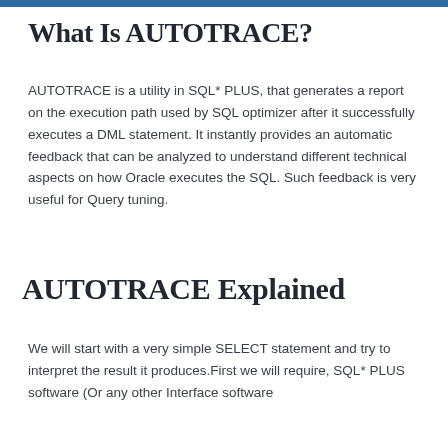What Is AUTOTRACE?
AUTOTRACE is a utility in SQL* PLUS, that generates a report on the execution path used by SQL optimizer after it successfully executes a DML statement. It instantly provides an automatic feedback that can be analyzed to understand different technical aspects on how Oracle executes the SQL. Such feedback is very useful for Query tuning.
AUTOTRACE Explained
We will start with a very simple SELECT statement and try to interpret the result it produces.First we will require, SQL* PLUS software (Or any other Interface software